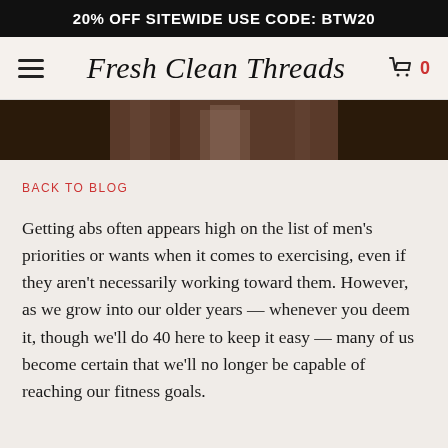20% OFF SITEWIDE USE CODE: BTW20
[Figure (screenshot): Fresh Clean Threads website navigation bar with hamburger menu on left, logo in center, and cart icon with 0 count on right]
[Figure (photo): Cropped photo of a person in a gym setting, showing lower torso/legs]
BACK TO BLOG
Getting abs often appears high on the list of men's priorities or wants when it comes to exercising, even if they aren't necessarily working toward them. However, as we grow into our older years — whenever you deem it, though we'll do 40 here to keep it easy — many of us become certain that we'll no longer be capable of reaching our fitness goals.